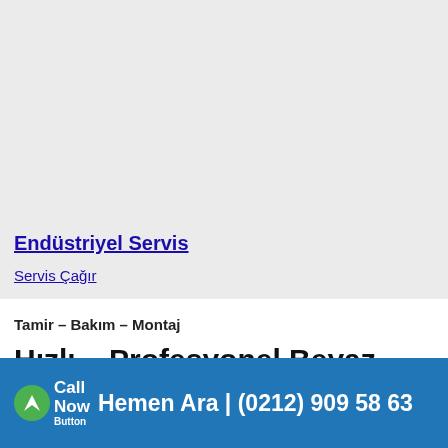[Figure (other): Grey background placeholder image area at the top of the page]
Endüstriyel Servis
Servis Çağır
Tamir – Bakım – Montaj
Hızlı – Profesyonel Beyaz Eşya Servisi
(0212) 909 58 63
Call Now  Hemen Ara | (0212) 909 58 63